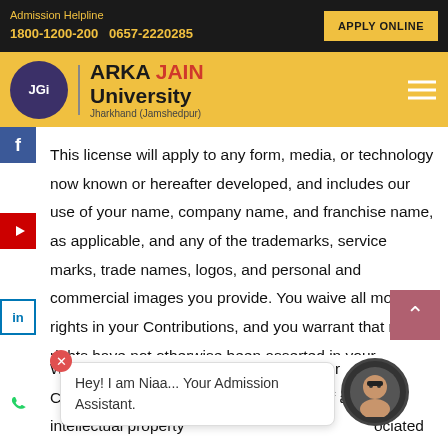Admission Helpline
1800-1200-200  0657-2220285
APPLY ONLINE
[Figure (logo): Arka Jain University logo with JGi circle emblem and university name]
This license will apply to any form, media, or technology now known or hereafter developed, and includes our use of your name, company name, and franchise name, as applicable, and any of the trademarks, service marks, trade names, logos, and personal and commercial images you provide. You waive all moral rights in your Contributions, and you warrant that moral rights have not otherwise been asserted in your Contributions.
We do not assert any ownership over your Contributions. You retain full ownership of all of your Contributions and any intellectual property ... ociated